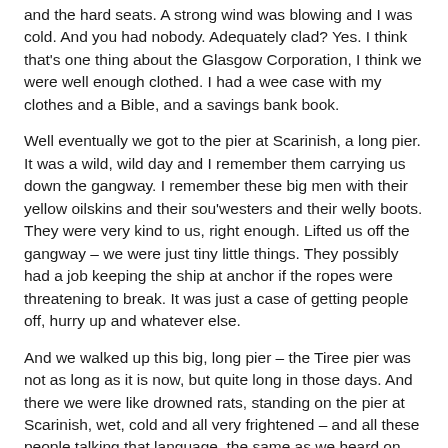and the hard seats. A strong wind was blowing and I was cold. And you had nobody. Adequately clad? Yes. I think that's one thing about the Glasgow Corporation, I think we were well enough clothed. I had a wee case with my clothes and a Bible, and a savings bank book.
Well eventually we got to the pier at Scarinish, a long pier. It was a wild, wild day and I remember them carrying us down the gangway. I remember these big men with their yellow oilskins and their sou'westers and their welly boots. They were very kind to us, right enough. Lifted us off the gangway – we were just tiny little things. They possibly had a job keeping the ship at anchor if the ropes were threatening to break. It was just a case of getting people off, hurry up and whatever else.
And we walked up this big, long pier – the Tiree pier was not as long as it is now, but quite long in those days. And there we were like drowned rats, standing on the pier at Scarinish, wet, cold and all very frightened – and all these people talking that language, the same as we heard on the boat...